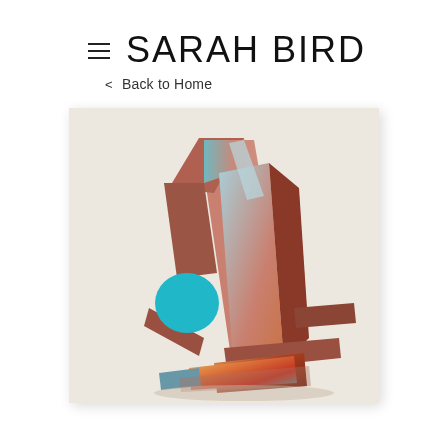≡  SARAH BIRD
< Back to Home
[Figure (illustration): Abstract geometric artwork featuring interlocking angular shapes in terracotta/salmon pink and brown tones with a teal/cyan circular form on the left, set against a beige/cream background. The composition suggests a three-dimensional sculptural structure with intersecting planes.]